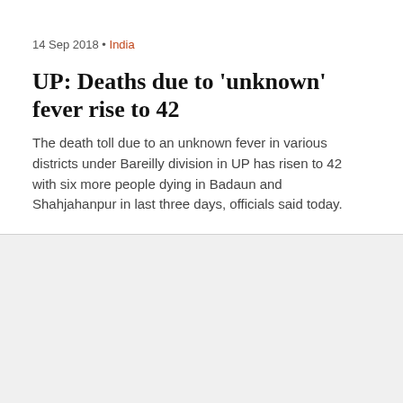14 Sep 2018 • India
UP: Deaths due to 'unknown' fever rise to 42
The death toll due to an unknown fever in various districts under Bareilly division in UP has risen to 42 with six more people dying in Badaun and Shahjahanpur in last three days, officials said today.